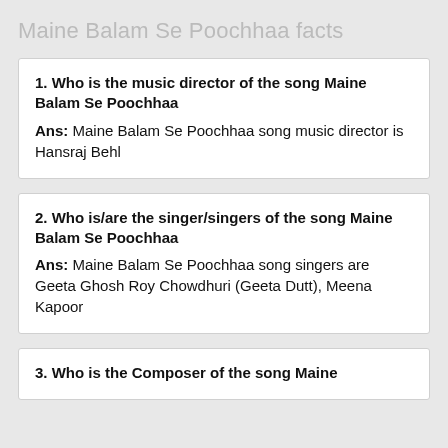Maine Balam Se Poochhaa facts
1. Who is the music director of the song Maine Balam Se Poochhaa
Ans: Maine Balam Se Poochhaa song music director is Hansraj Behl
2. Who is/are the singer/singers of the song Maine Balam Se Poochhaa
Ans: Maine Balam Se Poochhaa song singers are Geeta Ghosh Roy Chowdhuri (Geeta Dutt), Meena Kapoor
3. Who is the Composer of the song Maine